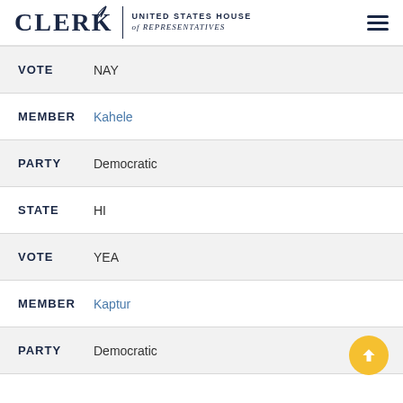CLERK | UNITED STATES HOUSE of REPRESENTATIVES
VOTE NAY
MEMBER Kahele
PARTY Democratic
STATE HI
VOTE YEA
MEMBER Kaptur
PARTY Democratic